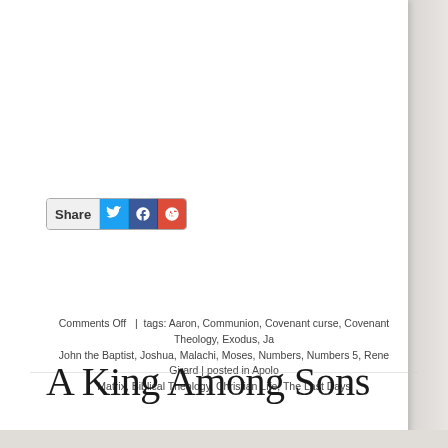[Figure (other): Social share button with Twitter, Facebook, and Google+ icons]
Comments Off  |  tags: Aaron, Communion, Covenant curse, Covenant Theology, Exodus, Ja John the Baptist, Joshua, Malachi, Moses, Numbers, Numbers 5, Rene Girard | posted in Apolo Matrix, Biblical Theology, Christian Life, The Last Days
A King Among Sons